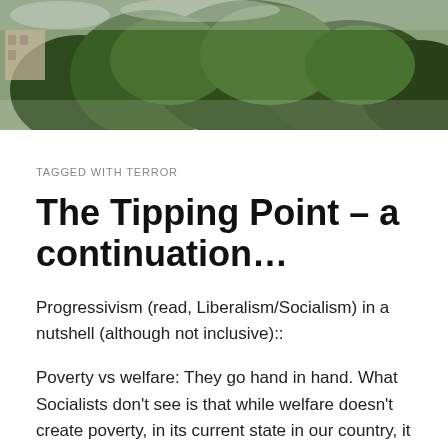[Figure (photo): Outdoor photo showing trees with green foliage and a building visible in the background, used as a header/banner image.]
TAGGED WITH TERROR
The Tipping Point – a continuation…
Progressivism (read, Liberalism/Socialism) in a nutshell (although not inclusive)::
Poverty vs welfare: They go hand in hand. What Socialists don't see is that while welfare doesn't create poverty, in its current state in our country, it does in fact perpetuate it. This has led to generational dependency and poverty. The